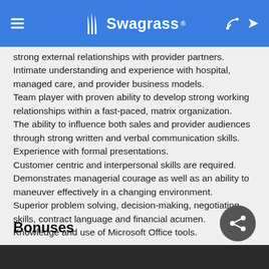Swagrass
strong external relationships with provider partners.
Intimate understanding and experience with hospital, managed care, and provider business models.
Team player with proven ability to develop strong working relationships within a fast-paced, matrix organization.
The ability to influence both sales and provider audiences through strong written and verbal communication skills. Experience with formal presentations.
Customer centric and interpersonal skills are required.
Demonstrates managerial courage as well as an ability to maneuver effectively in a changing environment.
Superior problem solving, decision-making, negotiating skills, contract language and financial acumen.
Knowledge and use of Microsoft Office tools.
Bonuses